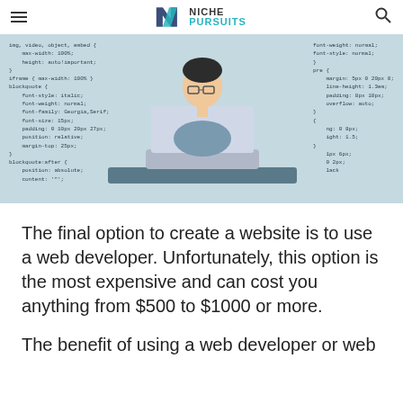NICHE PURSUITS
[Figure (illustration): Illustration of a web developer sitting at a desk with a laptop showing </> code, surrounded by CSS code text on a blue-grey background]
The final option to create a website is to use a web developer. Unfortunately, this option is the most expensive and can cost you anything from $500 to $1000 or more.
The benefit of using a web developer or web